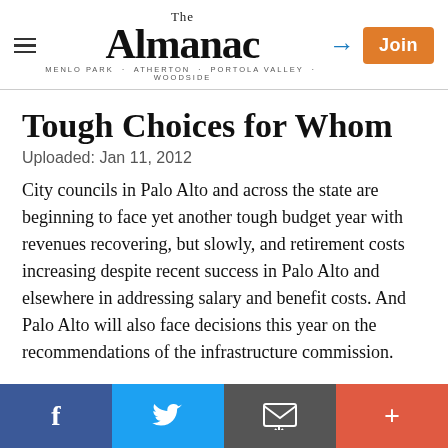The Almanac — MENLO PARK · ATHERTON · PORTOLA VALLEY · WOODSIDE
Tough Choices for Whom
Uploaded: Jan 11, 2012
City councils in Palo Alto and across the state are beginning to face yet another tough budget year with revenues recovering, but slowly, and retirement costs increasing despite recent success in Palo Alto and elsewhere in addressing salary and benefit costs. And Palo Alto will also face decisions this year on the recommendations of the infrastructure commission.
So it could be a year of making tough choices but tough choices for